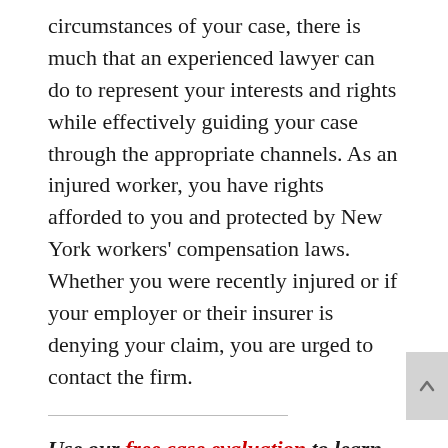circumstances of your case, there is much that an experienced lawyer can do to represent your interests and rights while effectively guiding your case through the appropriate channels. As an injured worker, you have rights afforded to you and protected by New York workers' compensation laws. Whether you were recently injured or if your employer or their insurer is denying your claim, you are urged to contact the firm.
Use our free case evaluation to learn more about getting legal counsel for your hearing or filing an appeal with the New York State Workers' Compensation Board. Contact the firm today!